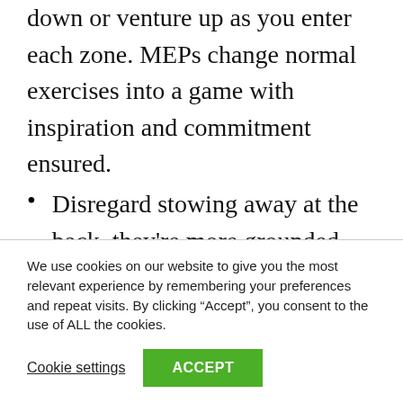down or venture up as you enter each zone. MEPs change normal exercises into a game with inspiration and commitment ensured.
Disregard stowing away at the back, they're more grounded together, sharing the experience.
Freedoms to up your MEPs are all over.
We use cookies on our website to give you the most relevant experience by remembering your preferences and repeat visits. By clicking “Accept”, you consent to the use of ALL the cookies.
Cookie settings   ACCEPT